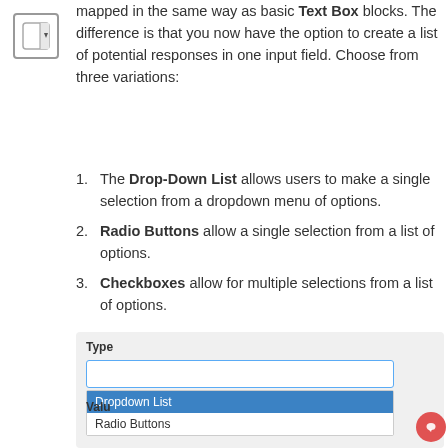[Figure (screenshot): Dropdown/combobox UI icon showing a small square with a down-arrow button]
mapped in the same way as basic Text Box blocks. The difference is that you now have the option to create a list of potential responses in one input field. Choose from three variations:
1. The Drop-Down List allows users to make a single selection from a dropdown menu of options.
2. Radio Buttons allow a single selection from a list of options.
3. Checkboxes allow for multiple selections from a list of options.
[Figure (screenshot): UI screenshot showing a Type field with a dropdown selector open, listing: Dropdown List (highlighted in blue), Radio Buttons. There is also a Value label on the left.]